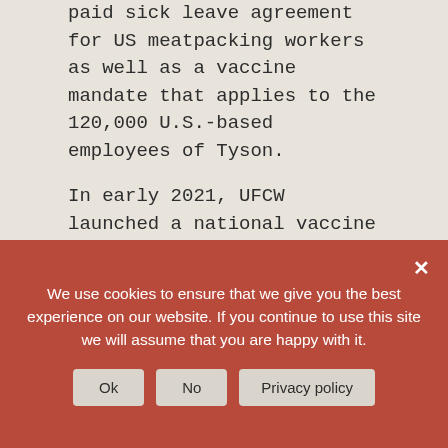paid sick leave agreement for US meatpacking workers as well as a vaccine mandate that applies to the 120,000 U.S.-based employees of Tyson.
In early 2021, UFCW launched a national vaccine campaign, hosting community vaccine clinics in California, Arizona, Nevada, Pennsylvania, Michigan, Illinois, and many other states to help essential workers get vaccinated and protect their families. The UFCW organized digital vaccine education town halls with Dr. Anthony Fauci, chief medical advisor to the US President, as well as health experts from other leading agencies, to answer questions from essential workers and communities that have been among the hardest-hit by COVID-19.
We use cookies to ensure that we give you the best experience on our website. If you continue to use this site we will assume that you are happy with it.